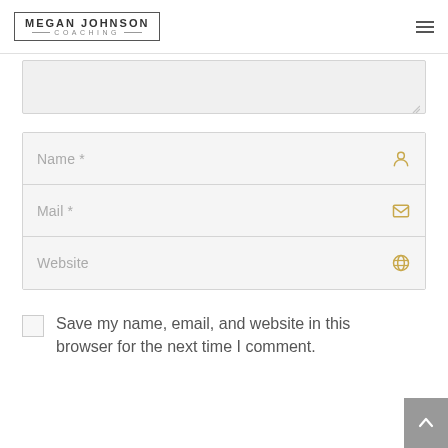MEGAN JOHNSON COACHING
[Figure (screenshot): Textarea form input field (greyed out, partially visible)]
Name *
Mail *
Website
Save my name, email, and website in this browser for the next time I comment.